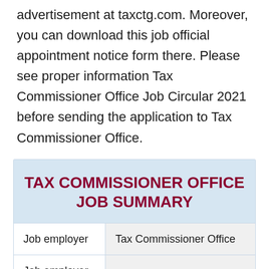advertisement at taxctg.com. Moreover, you can download this job official appointment notice form there. Please see proper information Tax Commissioner Office Job Circular 2021 before sending the application to Tax Commissioner Office.
|  |  |
| --- | --- |
| Job employer | Tax Commissioner Office |
| Job employer type | Government |